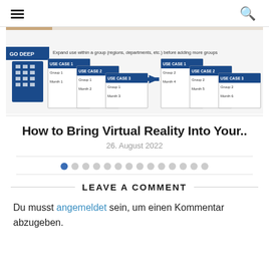Navigation menu and search icon
[Figure (infographic): Diagram showing use case expansion strategy: GO DEEP — Expand use within a group (regions, departments, etc.) before adding more groups. Shows USE CASE 1, USE CASE 2, USE CASE 3 for Group 1 with Months 1-3, then USE CASE 1, USE CASE 2, USE CASE 3 for Group 2 with Months 4-6, with an arrow indicating progression.]
How to Bring Virtual Reality Into Your..
26. August 2022
Pagination dots (1 active, 13 inactive)
LEAVE A COMMENT
Du musst angemeldet sein, um einen Kommentar abzugeben.